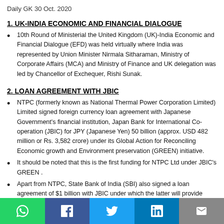Daily GK 30 Oct. 2020
1. UK-INDIA ECONOMIC AND FINANCIAL DIALOGUE
10th Round of Ministerial the United Kingdom (UK)-India Economic and Financial Dialogue (EFD) was held virtually where India was represented by Union Minister Nirmala Sitharaman, Ministry of Corporate Affairs (MCA) and Ministry of Finance and UK delegation was led by Chancellor of Exchequer, Rishi Sunak.
2. LOAN AGREEMENT WITH JBIC
NTPC (formerly known as National Thermal Power Corporation Limited) Limited signed foreign currency loan agreement with Japanese Government's financial institution, Japan Bank for International Co-operation (JBIC) for JPY (Japanese Yen) 50 billion (approx. USD 482 million or Rs. 3,582 crore) under its Global Action for Reconciling Economic growth and Environment preservation (GREEN) initiative.
It should be noted that this is the first funding for NTPC Ltd under JBIC's GREEN .
Apart from NTPC, State Bank of India (SBI) also signed a loan agreement of $1 billion with JBIC under which the latter will provide funds for the